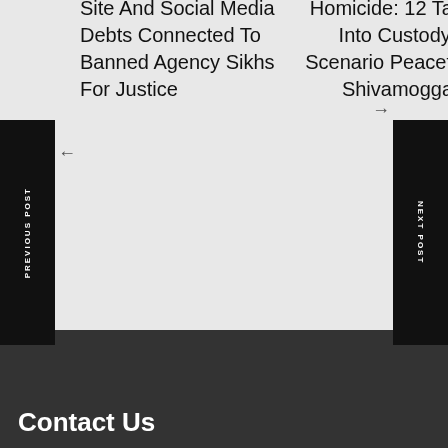Site And Social Media Debts Connected To Banned Agency Sikhs For Justice
Homicide: 12 Taken Into Custody; Scenario Peaceful In Shivamogga
PREVIOUS POST
NEXT POST
Contact Us